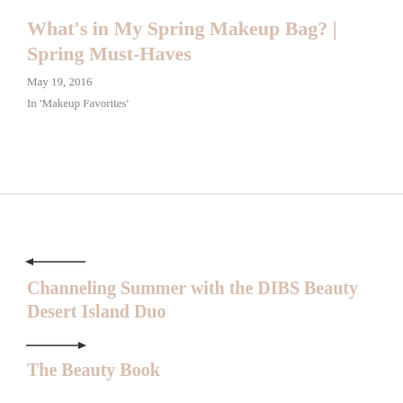What's in My Spring Makeup Bag? | Spring Must-Haves
May 19, 2016
In 'Makeup Favorites'
Channeling Summer with the DIBS Beauty Desert Island Duo
The Beauty Book